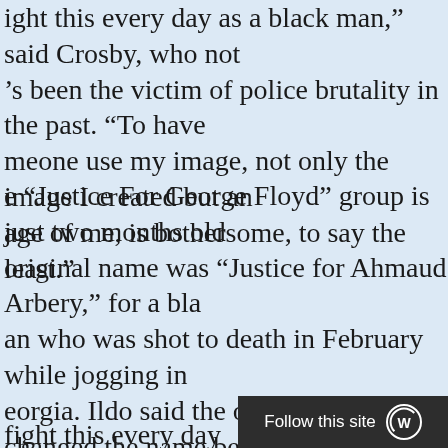ight this every day as a black man," said Crosby, who's been the victim of police brutality in the past. "To have meone use my image, not only the image I created but an age of me, is bothersome, to say the least."
e "Justice For George Floyd" group is just two months old. original name was "Justice for Ahmaud Arbery," for a black an who was shot to death in February while jogging in eorgia. Ildo said the organizers changed the name because ey were having a hard time getting members, and "Facebook n give us a little better traction when people searched for eorge."
one of the group's other admins and moderators returned ltiple requests for comment.
fight this every day as a black man."
Mark Crosby, artist of "Adjacent t…